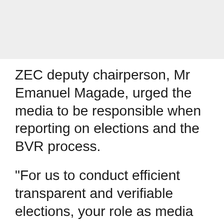[Figure (photo): Grey placeholder image at the top of the page]
ZEC deputy chairperson, Mr Emanuel Magade, urged the media to be responsible when reporting on elections and the BVR process.
“For us to conduct efficient transparent and verifiable elections, your role as media can never be over emphasized,” he said. “Media was hijacked by a few powerful individuals to the detriment of the majority. For example, the genocide in Rwanda and Burundi in the 1990s was aided and abated by the media. Equally, the media has done good things by exposing corruption perfidy and non